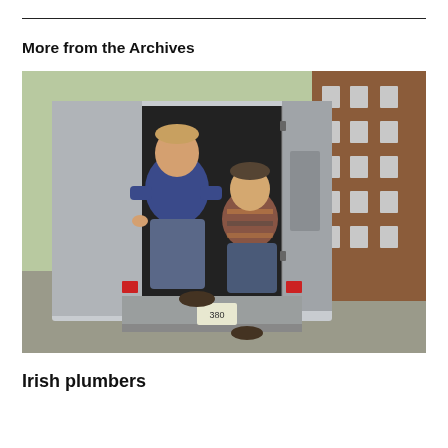More from the Archives
[Figure (photo): Two men standing at the back of an open moving truck on a street beside a brick building. One man stands on the ground in a blue t-shirt, the other sits on the truck's lift gate wearing a striped polo shirt. A brick multi-story building is visible to the right.]
Irish plumbers